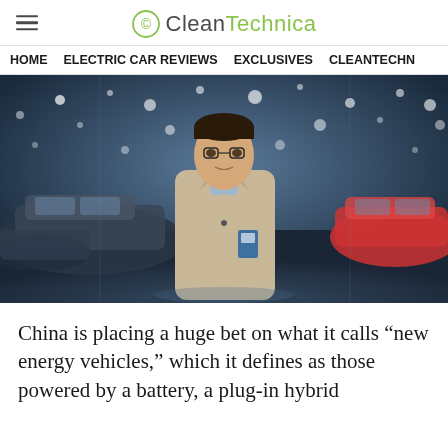CleanTechnica
HOME   ELECTRIC CAR REVIEWS   EXCLUSIVES   CLEANTECHN
[Figure (photo): Man in beige jacket standing in a showroom full of cars with bokeh lights in the background]
China is placing a huge bet on what it calls “new energy vehicles,” which it defines as those powered by a battery, a plug-in hybrid